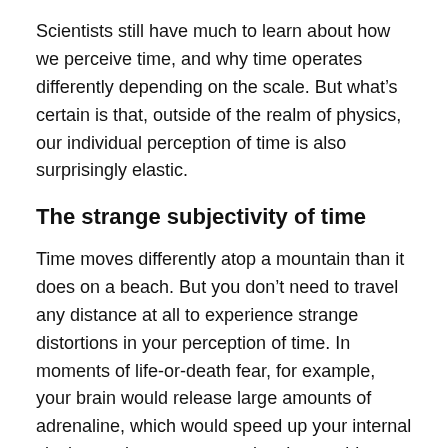Scientists still have much to learn about how we perceive time, and why time operates differently depending on the scale. But what’s certain is that, outside of the realm of physics, our individual perception of time is also surprisingly elastic.
The strange subjectivity of time
Time moves differently atop a mountain than it does on a beach. But you don’t need to travel any distance at all to experience strange distortions in your perception of time. In moments of life-or-death fear, for example, your brain would release large amounts of adrenaline, which would speed up your internal clock, causing you to perceive the outside world as moving slowly.
Another common distortion occurs when we focus our